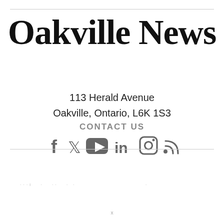Oakville News
113 Herald Avenue
Oakville, Ontario, L6K 1S3
CONTACT US
[Figure (infographic): Social media icons: Facebook, Twitter, YouTube, LinkedIn, Instagram, RSS]
· · · l     ·     · ·     ·  ·                                                                ·
x